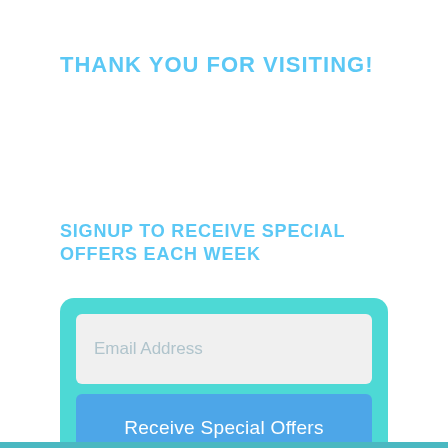THANK YOU FOR VISITING!
SIGNUP TO RECEIVE SPECIAL OFFERS EACH WEEK
[Figure (screenshot): Email signup form with a light-gray email address input field and a blue 'Receive Special Offers' button, contained in a teal rounded rectangle box.]